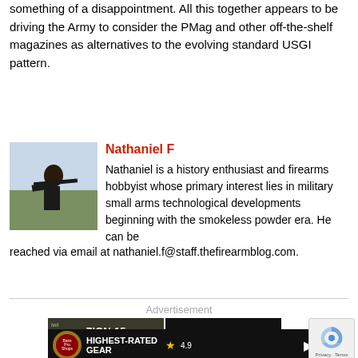something of a disappointment. All this together appears to be driving the Army to consider the PMag and other off-the-shelf magazines as alternatives to the evolving standard USGI pattern.
[Figure (photo): Photo of Nathaniel F aiming a rifle outdoors]
Nathaniel F
Nathaniel is a history enthusiast and firearms hobbyist whose primary interest lies in military small arms technological developments beginning with the smokeless powder era. He can be reached via email at nathaniel.f@staff.thefirearmblog.com.
Advertisement
[Figure (screenshot): Advertisement banner with IWI ZION-15 RIFLE ad, BFS III ad, Bass Pro Shops highest-rated gear banner with 4.9 star rating]